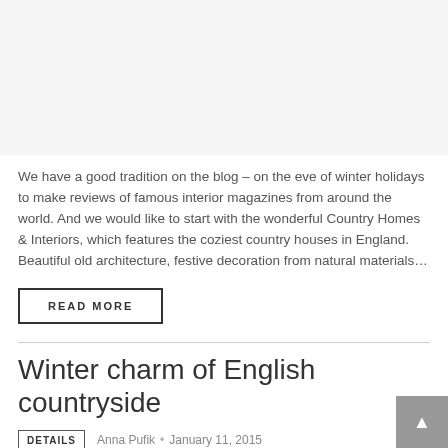[Figure (photo): Light grey placeholder image area at the top of the page]
We have a good tradition on the blog – on the eve of winter holidays to make reviews of famous interior magazines from around the world. And we would like to start with the wonderful Country Homes & Interiors, which features the coziest country houses in England. Beautiful old architecture, festive decoration from natural materials…
READ MORE
Winter charm of English countryside
DETAILS   Anna Pufik  •  January 11, 2015    0